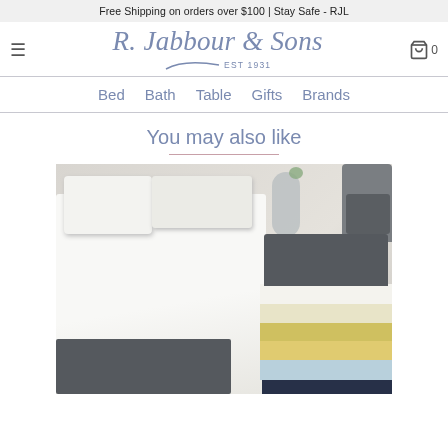Free Shipping on orders over $100 | Stay Safe - RJL
[Figure (logo): R. Jabbour & Sons EST 1931 logo in blue/grey script with swoosh]
Bed   Bath   Table   Gifts   Brands
You may also like
[Figure (photo): Product photo of folded blankets in various colors (gray, light blue, yellow, cream, white) stacked on a bed with white linens, pillows, and a chair in the background]